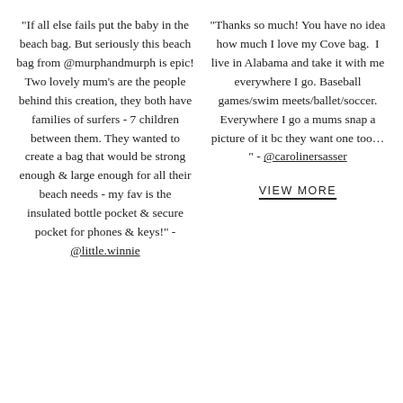"If all else fails put the baby in the beach bag. But seriously this beach bag from @murphandmurph is epic! Two lovely mum's are the people behind this creation, they both have families of surfers - 7 children between them. They wanted to create a bag that would be strong enough & large enough for all their beach needs - my fav is the insulated bottle pocket & secure pocket for phones & keys!" - @little.winnie
"Thanks so much! You have no idea how much I love my Cove bag.  I live in Alabama and take it with me everywhere I go. Baseball games/swim meets/ballet/soccer. Everywhere I go a mums snap a picture of it bc they want one too… " - @carolinersasser
VIEW MORE